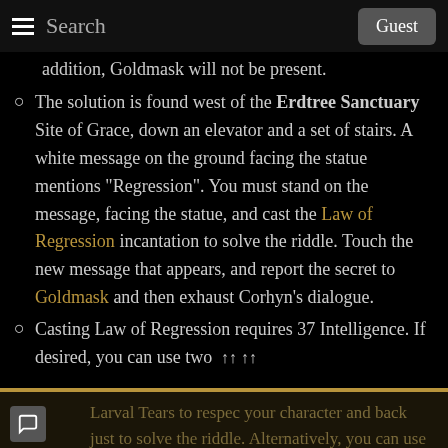Search | Guest
addition, Goldmask will not be present.
The solution is found west of the Erdtree Sanctuary Site of Grace, down an elevator and a set of stairs. A white message on the ground facing the statue mentions "Regression". You must stand on the message, facing the statue, and cast the Law of Regression incantation to solve the riddle. Touch the new message that appears, and report the secret to Goldmask and then exhaust Corhyn's dialogue.
Casting Law of Regression requires 37 Intelligence. If desired, you can use two
Larval Tears to respec your character and back just to solve the riddle. Alternatively, you can use a combination of Intelligence too...